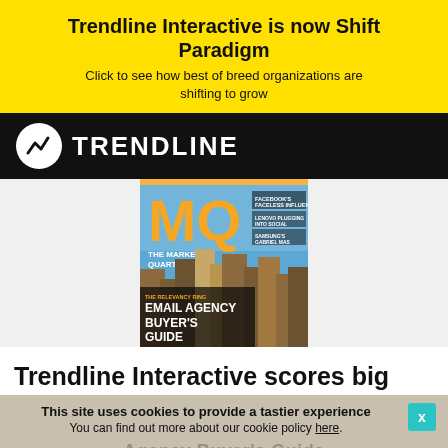Trendline Interactive is now Shift Paradigm
Click to see how best of breed organizations are shifting to grow
[Figure (logo): Trendline logo: white circle with stylized arrow/check mark icon, followed by TRENDLINE text in white on black background]
[Figure (photo): MQ The Marketer Quarterly magazine cover featuring Email Agency Buyer's Guide with city skyline, articles about Facebook's Faceless Influencers, Lenovo Plugging Into Social, Samsung's Gabriel Mas]
Trendline Interactive scores big
This site uses cookies to provide a tastier experience
You can find out more about our cookie policy here.
Agency Buyer's Guide